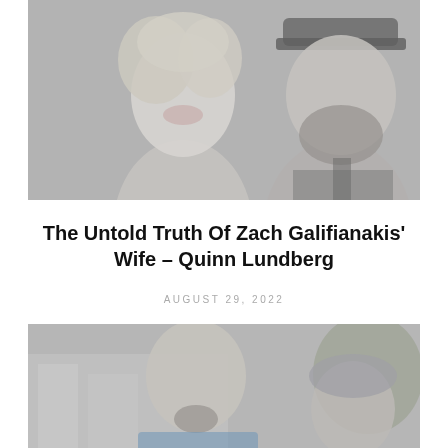[Figure (photo): Faded grayscale photo of a smiling blonde woman and a bearded man wearing a baseball cap, posed together]
The Untold Truth Of Zach Galifianakis' Wife – Quinn Lundberg
AUGUST 29, 2022
[Figure (photo): Faded grayscale photo of a bald smiling man with a goatee and another person partially visible, outdoors near trees and buildings]